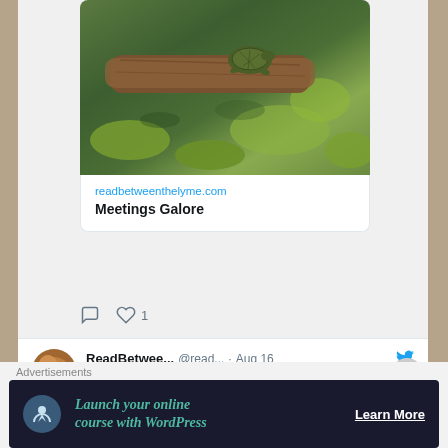[Figure (photo): Photograph of a turtle on a log in a pond with green algae/lily pads]
readbetweenthelyme.com
Meetings Galore
♡ 1
ReadBetwee... @read... · Aug 16
Meetings Galore I woke up about 3 am last night, just like yesterday morning. I tried to go back to sleep, but too many things are running through my brain. Last week was our district professional
Advertisements
Launch your online course with WordPress
Learn More